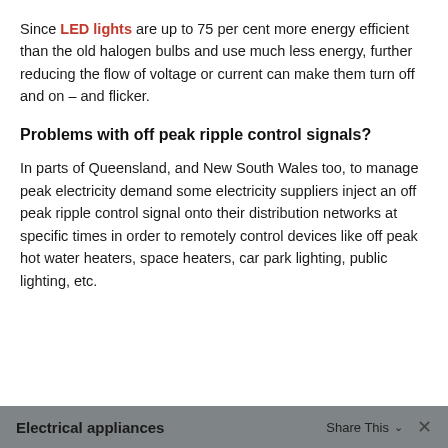Since LED lights are up to 75 per cent more energy efficient than the old halogen bulbs and use much less energy, further reducing the flow of voltage or current can make them turn off and on – and flicker.
Problems with off peak ripple control signals?
In parts of Queensland, and New South Wales too, to manage peak electricity demand some electricity suppliers inject an off peak ripple control signal onto their distribution networks at specific times in order to remotely control devices like off peak hot water heaters, space heaters, car park lighting, public lighting, etc.
Electrical appliances   Share This   ×